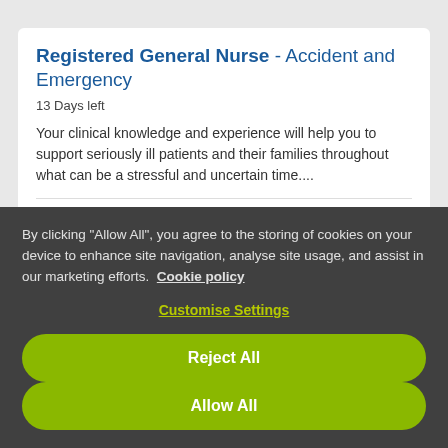Registered General Nurse - Accident and Emergency
13 Days left
Your clinical knowledge and experience will help you to support seriously ill patients and their families throughout what can be a stressful and uncertain time....
City of Preston, Lancashire, GBR
By clicking "Allow All", you agree to the storing of cookies on your device to enhance site navigation, analyse site usage, and assist in our marketing efforts. Cookie policy
Customise Settings
Reject All
Allow All